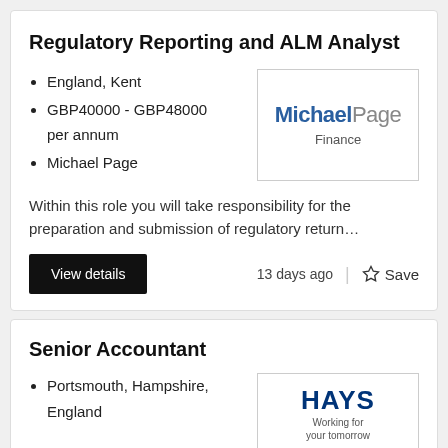Regulatory Reporting and ALM Analyst
England, Kent
GBP40000 - GBP48000 per annum
Michael Page
[Figure (logo): Michael Page Finance logo — 'Michael' in bold blue, 'Page' in grey, 'Finance' label below]
Within this role you will take responsibility for the preparation and submission of regulatory return...
View details
13 days ago
☆ Save
Senior Accountant
Portsmouth, Hampshire, England
[Figure (logo): Hays logo — 'HAYS' in bold dark blue, tagline 'Working for your tomorrow']